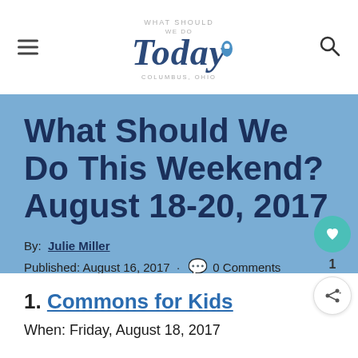What Should We Do Today – Columbus, Ohio (logo/navigation header)
What Should We Do This Weekend? August 18-20, 2017
By: Julie Miller
Published: August 16, 2017 · 0 Comments
1. Commons for Kids
When: Friday, August 18, 2017